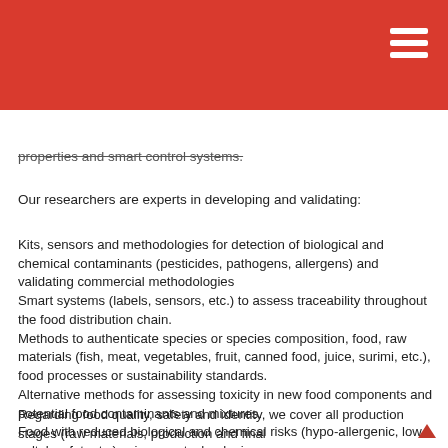properties and smart control systems.
Our researchers are experts in developing and validating:
Kits, sensors and methodologies for detection of biological and chemical contaminants (pesticides, pathogens, allergens) and validating commercial methodologies
Smart systems (labels, sensors, etc.) to assess traceability throughout the food distribution chain.
Methods to authenticate species or species composition, food, raw materials (fish, meat, vegetables, fruit, canned food, juice, surimi, etc.), food processes or sustainability standards.
Alternative methods for assessing toxicity in new food components and potential food contaminants and mixtures.
Food with reduced biological and chemical risks (hypo-allergenic, low salt, low fat, etc.) using new technologies.
Management systems for quality and authenticity automatic control.
Regarding food quality, safety and identity, we cover all production stages (raw materials, production and final